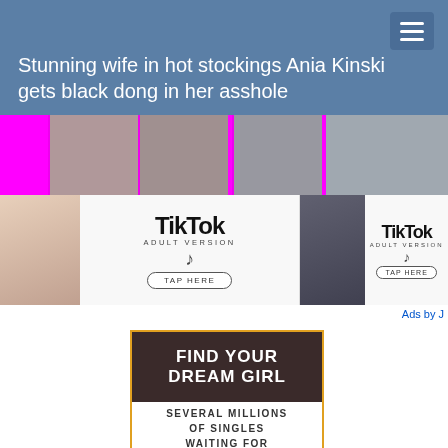Stunning wife in hot stockings Ania Kinski gets black dong in her asshole
[Figure (screenshot): Navigation hamburger menu icon in top right of header bar]
[Figure (infographic): Thumbnail strip of adult content images with magenta/pink separators]
[Figure (screenshot): Two TikTok Adult Version advertisement banners side by side with TAP HERE buttons]
Ads by J
[Figure (infographic): Find Your Dream Girl advertisement - Several Millions of Singles Waiting for the Right Man]